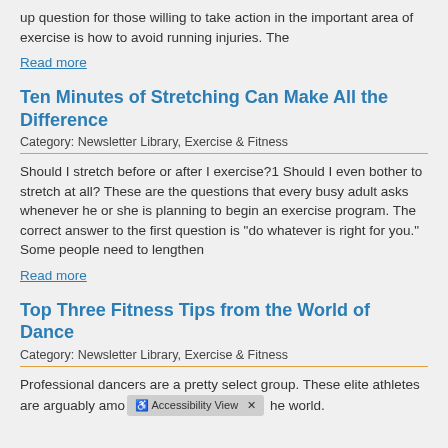up question for those willing to take action in the important area of exercise is how to avoid running injuries. The
Read more
Ten Minutes of Stretching Can Make All the Difference
Category: Newsletter Library, Exercise & Fitness
Should I stretch before or after I exercise?1 Should I even bother to stretch at all? These are the questions that every busy adult asks whenever he or she is planning to begin an exercise program. The correct answer to the first question is "do whatever is right for you." Some people need to lengthen
Read more
Top Three Fitness Tips from the World of Dance
Category: Newsletter Library, Exercise & Fitness
Professional dancers are a pretty select group. These elite athletes are arguably amo he world.